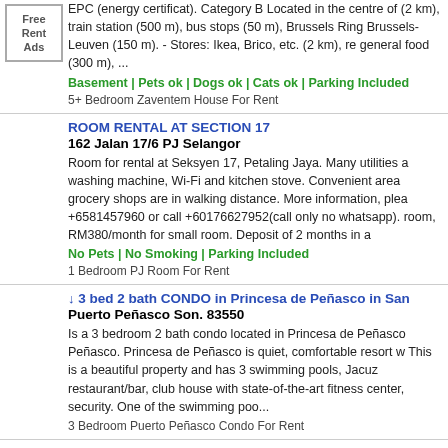EPC (energy certificat). Category B Located in the centre of 2 km), train station (500 m), bus stops (50 m), Brussels Ring Brussels-Leuven (150 m). - Stores: Ikea, Brico, etc. (2 km), general food (300 m), ... Basement | Pets ok | Dogs ok | Cats ok | Parking Included
5+ Bedroom Zaventem House For Rent
ROOM RENTAL AT SECTION 17
162 Jalan 17/6 PJ Selangor
Room for rental at Seksyen 17, Petaling Jaya. Many utilities washing machine, Wi-Fi and kitchen stove. Convenient area grocery shops are in walking distance. More information, plea +6581457960 or call +60176627952(call only no whatsapp). room, RM380/month for small room. Deposit of 2 months in a No Pets | No Smoking | Parking Included
1 Bedroom PJ Room For Rent
3 bed 2 bath CONDO in Princesa de Peñasco in San
Puerto Peñasco Son. 83550
Is a 3 bedroom 2 bath condo located in Princesa de Peñasco Peñasco. Princesa de Peñasco is quiet, comfortable resort w This is a beautiful property and has 3 swimming pools, Jacuz restaurant/bar, club house with state-of-the-art fitness center, security. One of the swimming poo...
3 Bedroom Puerto Peñasco Condo For Rent
1 bedroom and den home in Tamarind Westside
30515 Cardinal Ave Abbotsford BC
It is just what you are looking for! Take a look at this 1 bedroo Westside. This home features an open kitchen with rich dark appliances. The full bathroom serves as an ensuite and main